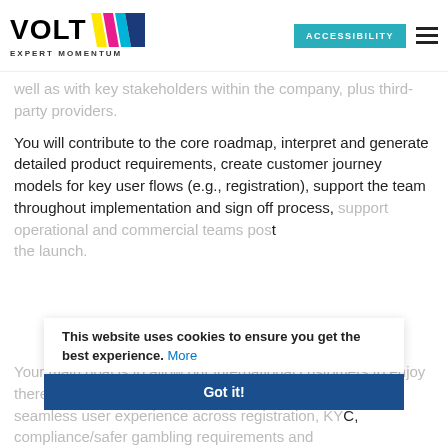VOLT EXPERT MOMENTUM | ACCESSIBILITY
well as with key stakeholders within the company, plus third-party providers.
You will contribute to the core roadmap, interpret and generate detailed product requirements, create customer journey models for key user flows (e.g., registration), support the team throughout implementation and sign off process, support operational and commercial teams post the launch.
This website uses cookies to ensure you get the best experience. More
Got it!
Your main goal is to allow our international customers to enjoy there products by providing a seamless user experience across registration, KYC, compliance/safer gambling requirements and